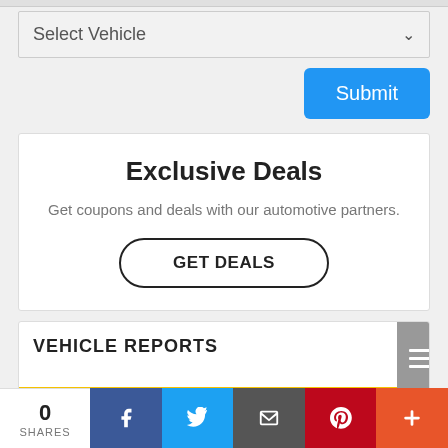Select Vehicle
Submit
Exclusive Deals
Get coupons and deals with our automotive partners.
GET DEALS
VEHICLE REPORTS
0 SHARES